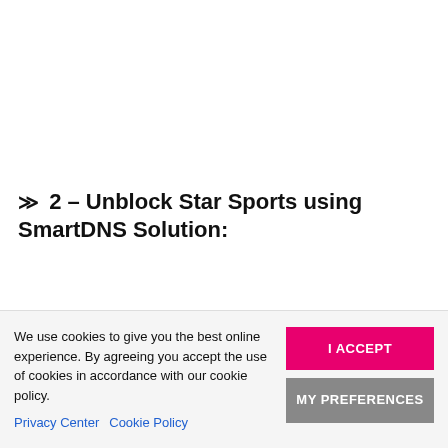❮❮ 2 – Unblock Star Sports using SmartDNS Solution:
DNS solutions like SmartDNS and DNS-based solutions...
We use cookies to give you the best online experience. By agreeing you accept the use of cookies in accordance with our cookie policy.
Privacy Center   Cookie Policy
I ACCEPT
MY PREFERENCES